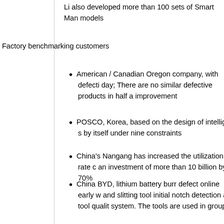Li also developed more than 100 sets of Smart Man models
Factory benchmarking customers
American / Canadian Oregon company, with defecti day; There are no similar defective products in half a improvement
POSCO, Korea, based on the design of intelligent s by itself under nine constraints
China's Nangang has increased the utilization rate c an investment of more than 10 billion by 70%
China BYD, lithium battery burr defect online early w and slitting tool initial notch detection and tool qualit system. The tools are used in groups
Others
There are 3 books and more than 30 papers, includi